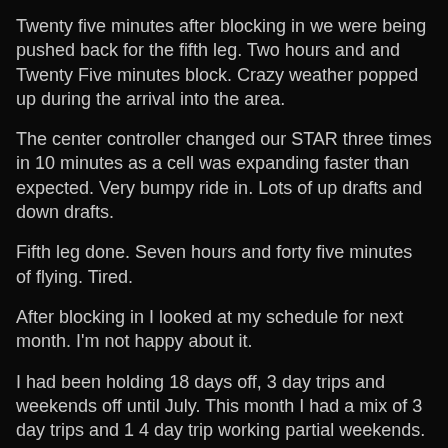Twenty five minutes after blocking in we were being pushed back for the fifth leg. Two hours and and Twenty Five minutes block. Crazy weather popped up during the arrival into the area.
The center controller changed our STAR three times in 10 minutes as a cell was expanding faster than expected. Very bumpy ride in. Lots of up drafts and down drafts.
Fifth leg done. Seven hours and forty five minutes of flying. Tired.
After blocking in I looked at my schedule for next month. I'm not happy about it.
I had been holding 18 days off, 3 day trips and weekends off until July. This month I had a mix of 3 day trips and 1 4 day trip working partial weekends.
For August....I have all 4 day trips....weekends off...but just 13 days off.